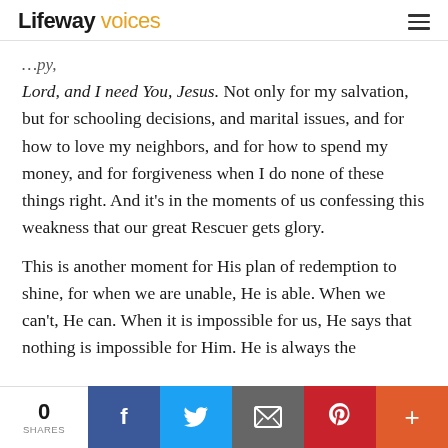Lifeway voices
Lord, and I need You, Jesus. Not only for my salvation, but for schooling decisions, and marital issues, and for how to love my neighbors, and for how to spend my money, and for forgiveness when I do none of these things right. And it’s in the moments of us confessing this weakness that our great Rescuer gets glory.

This is another moment for His plan of redemption to shine, for when we are unable, He is able. When we can’t, He can. When it is impossible for us, He says that nothing is impossible for Him. He is always the
0 SHARES | Facebook | Twitter | Email | Pinterest | More